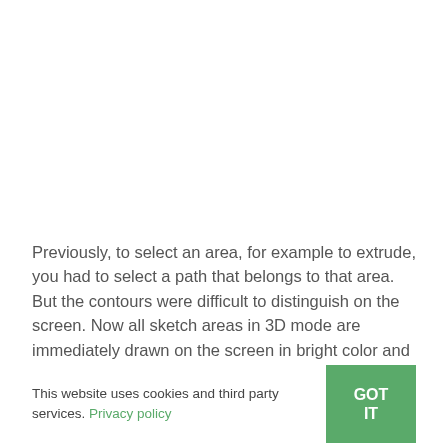Previously, to select an area, for example to extrude, you had to select a path that belongs to that area. But the contours were difficult to distinguish on the screen. Now all sketch areas in 3D mode are immediately drawn on the screen in bright color and outlined with bold lines.
This website uses cookies and third party services. Privacy policy